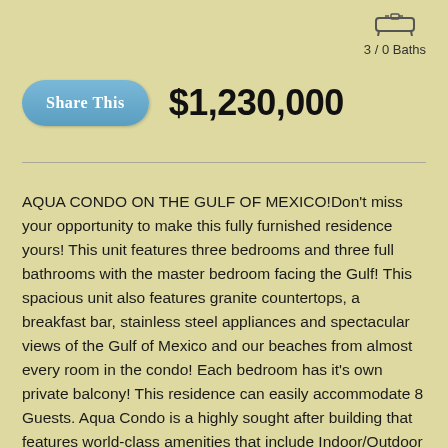[Figure (illustration): Bathtub icon above '3 / 0 Baths' label in top right corner]
3 / 0 Baths
[Figure (other): Blue rounded-rectangle button labeled 'Share This']
$1,230,000
AQUA CONDO ON THE GULF OF MEXICO!Don't miss your opportunity to make this fully furnished residence yours! This unit features three bedrooms and three full bathrooms with the master bedroom facing the Gulf! This spacious unit also features granite countertops, a breakfast bar, stainless steel appliances and spectacular views of the Gulf of Mexico and our beaches from almost every room in the condo! Each bedroom has it's own private balcony! This residence can easily accommodate 8 Guests. Aqua Condo is a highly sought after building that features world-class amenities that include Indoor/Outdoor Pool, Spa, Fitness Center, Fire Pit and more.Make an appointment today to see this amazing condo! All dimensions are approximate. Buyer to verify all dimensions if deemed important.